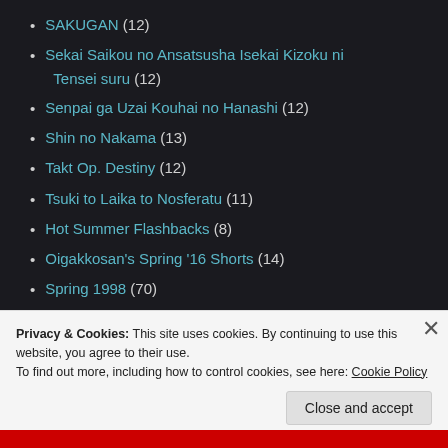SAKUGAN (12)
Sekai Saikou no Ansatsusha Isekai Kizoku ni Tensei suru (12)
Senpai ga Uzai Kouhai no Hanashi (12)
Shin no Nakama (13)
Takt Op. Destiny (12)
Tsuki to Laika to Nosferatu (11)
Hot Summer Flashbacks (8)
Oigakkosan's Spring '16 Shorts (14)
Spring 1998 (70)
Cardcaptor Sakura (70)
Privacy & Cookies: This site uses cookies. By continuing to use this website, you agree to their use. To find out more, including how to control cookies, see here: Cookie Policy
Close and accept